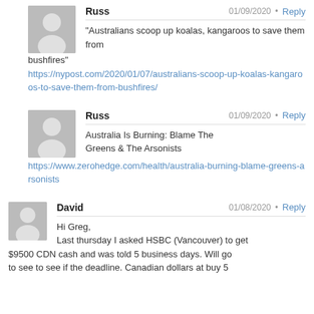Russ · 01/09/2020 · Reply
“Australians scoop up koalas, kangaroos to save them from bushfires” https://nypost.com/2020/01/07/australians-scoop-up-koalas-kangaroos-to-save-them-from-bushfires/
Russ · 01/09/2020 · Reply
Australia Is Burning: Blame The Greens & The Arsonists https://www.zerohedge.com/health/australia-burning-blame-greens-arsonists
David · 01/08/2020 · Reply
Hi Greg, Last thursday I asked HSBC (Vancouver) to get $9500 CDN cash and was told 5 business days. Will go to see to see if the deadline. Canadian dollars at buy 5